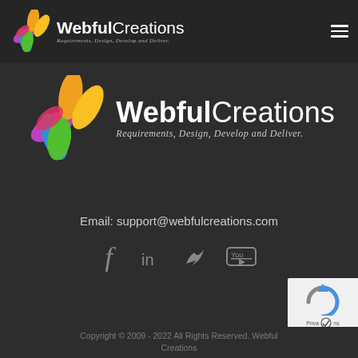WebfulCreations — Requirements, Design, Develop and Deliver.
[Figure (logo): WebfulCreations logo with colorful flower/leaf icon and company name with tagline]
Email: support@webfulcreations.com
[Figure (infographic): Social media icons: Facebook, LinkedIn, Twitter, YouTube]
[Figure (logo): reCAPTCHA badge bottom right]
Copyright © 2009 - 2022 All Rights Reserved. WebfulCreations